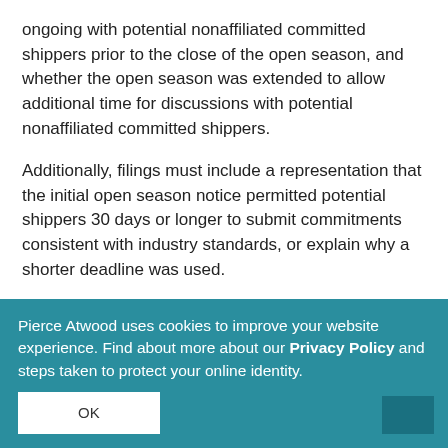ongoing with potential nonaffiliated committed shippers prior to the close of the open season, and whether the open season was extended to allow additional time for discussions with potential nonaffiliated committed shippers.
Additionally, filings must include a representation that the initial open season notice permitted potential shippers 30 days or longer to submit commitments consistent with industry standards, or explain why a shorter deadline was used.
C. Open Season Negotiations and Charges
FERC is seeking additional information on discussions and negotiations that took place during the site open season materials, including any pro forma open season materials; including any pro forma [rate offered in open season]; (2) describing any open season negotiations and any
Pierce Atwood uses cookies to improve your website experience. Find about more about our Privacy Policy and steps taken to protect your online identity.